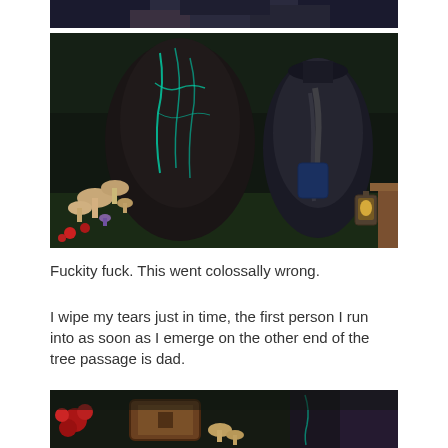[Figure (screenshot): Top partial strip of a dark game screenshot showing characters]
[Figure (screenshot): Main game screenshot showing two characters in a dark outdoor scene with glowing teal tree markings, mushrooms, and a lantern. One character faces away showing a dark robe with teal glowing patterns; the other character in dark clothing faces away on the right side.]
Fuckity fuck. This went colossally wrong.
I wipe my tears just in time, the first person I run into as soon as I emerge on the other end of the tree passage is dad.
[Figure (screenshot): Bottom partial game screenshot showing red flowers, wooden structures, mushrooms, and dark forest environment with characters]